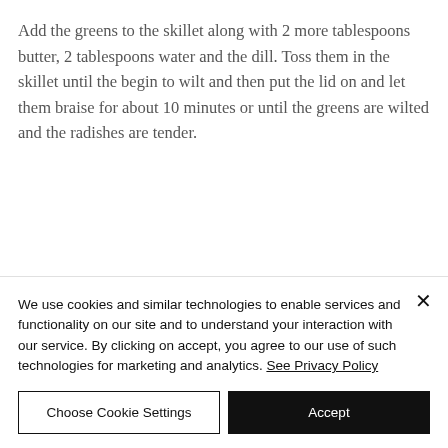Add the greens to the skillet along with 2 more tablespoons butter, 2 tablespoons water and the dill. Toss them in the skillet until the begin to wilt and then put the lid on and let them braise for about 10 minutes or until the greens are wilted and the radishes are tender.
We use cookies and similar technologies to enable services and functionality on our site and to understand your interaction with our service. By clicking on accept, you agree to our use of such technologies for marketing and analytics. See Privacy Policy